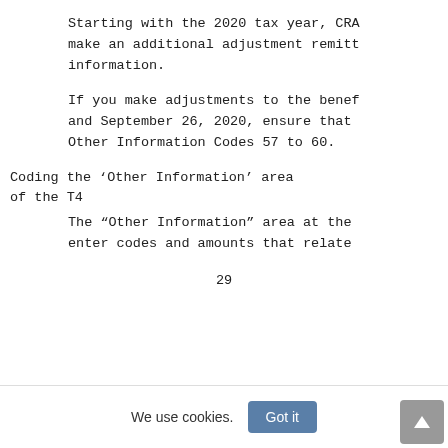Starting with the 2020 tax year, CRA make an additional adjustment remitt information.
If you make adjustments to the benef and September 26, 2020, ensure that Other Information Codes 57 to 60.
Coding the ‘Other Information’ area of the T4
The “Other Information” area at the enter codes and amounts that relate
29